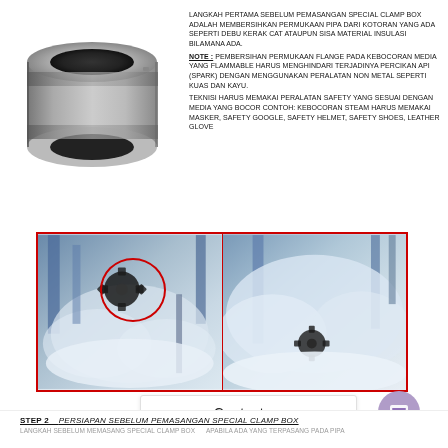[Figure (illustration): 3D illustration of a cylindrical special clamp box pipe coupling, gray metallic finish]
LANGKAH PERTAMA SEBELUM PEMASANGAN SPECIAL CLAMP BOX ADALAH MEMBERSIHKAN PERMUKAAN PIPA DARI KOTORAN YANG ADA SEPERTI DEBU KERAK CAT ATAUPUN SISA MATERIAL INSULASI BILAMANA ADA. NOTE : PEMBERSIHAN PERMUKAAN FLANGE PADA KEBOCORAN MEDIA YANG FLAMMABLE HARUS MENGHINDARI TERJADINYA PERCIKAN API (SPARK) DENGAN MENGGUNAKAN PERALATAN NON METAL SEPERTI KUAS DAN KAYU. TEKNISI HARUS MEMAKAI PERALATAN SAFETY YANG SESUAI DENGAN MEDIA YANG BOCOR CONTOH: KEBOCORAN STEAM HARUS MEMAKAI MASKER, SAFETY GOOGLE, SAFETY HELMET, SAFETY SHOES, LEATHER GLOVE
[Figure (photo): Two side-by-side photos with red border showing steam/smoke leaking from industrial pipe fittings. Left photo has a red circle highlighting the leak point.]
Contact us
STEP 2   PERSIAPAN SEBELUM PEMASANGAN SPECIAL CLAMP BOX